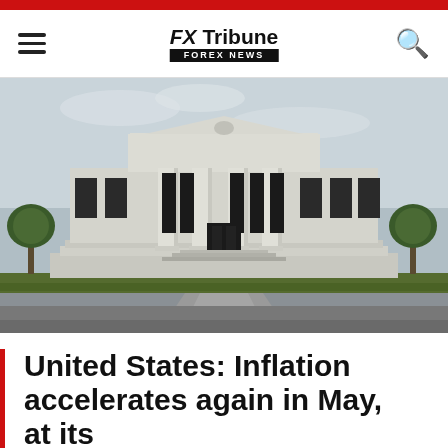FX Tribune FOREX NEWS
[Figure (photo): Exterior facade of the Federal Reserve building in Washington D.C., a large neoclassical stone building with tall columns, photographed on an overcast day with green trees on either side and a central walkway leading to the entrance.]
United States: Inflation accelerates again in May, at its